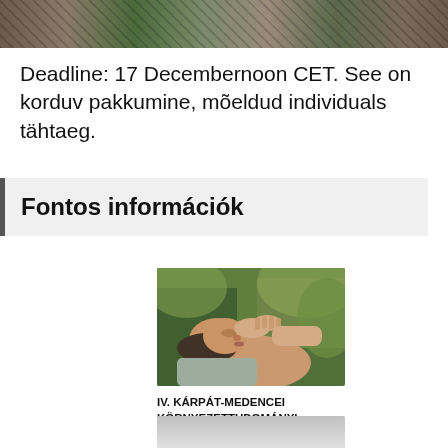[Figure (photo): Top banner image showing a street or urban scene with dark tones]
Deadline: 17 Decembernoon CET. See on korduv pakkumine, mõeldud individuals tähtaeg.
Fontos információk
[Figure (photo): Photo of a person lying down receiving a head massage or wellness treatment outdoors]
IV. KÁRPÁT-MEDENCEI KÖRNYEZETTUDOMÁNYI KONFERENCIA II. KÖTET
[Figure (photo): Partial bottom image, gray/light colored, partially visible]